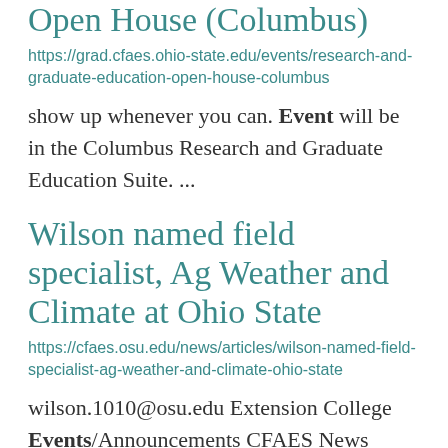Open House (Columbus)
https://grad.cfaes.ohio-state.edu/events/research-and-graduate-education-open-house-columbus
show up whenever you can. Event will be in the Columbus Research and Graduate Education Suite. ...
Wilson named field specialist, Ag Weather and Climate at Ohio State
https://cfaes.osu.edu/news/articles/wilson-named-field-specialist-ag-weather-and-climate-ohio-state
wilson.1010@osu.edu Extension College Events/Announcements CFAES News Team cfaesnews@osu.edu 614-292-2270
...